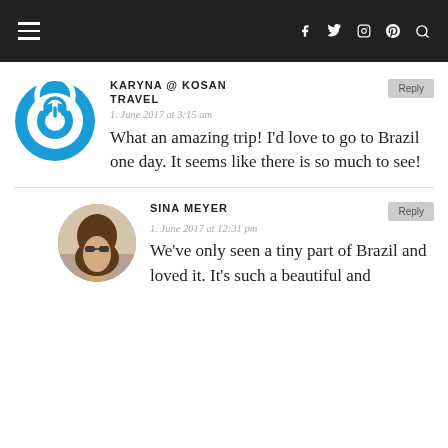Navigation bar with hamburger menu, social icons (facebook, twitter, instagram, pinterest), and search
[Figure (logo): Blue circular power button icon — Kosan Travel avatar]
KARYNA @ KOSAN TRAVEL
1. June 2017 at 3:15 am
What an amazing trip! I'd love to go to Brazil one day. It seems like there is so much to see!
[Figure (photo): Circular profile photo of a woman with dark hair and sunglasses outdoors]
SINA MEYER
1. June 2017 at 12:31 pm
We've only seen a tiny part of Brazil and loved it. It's such a beautiful and